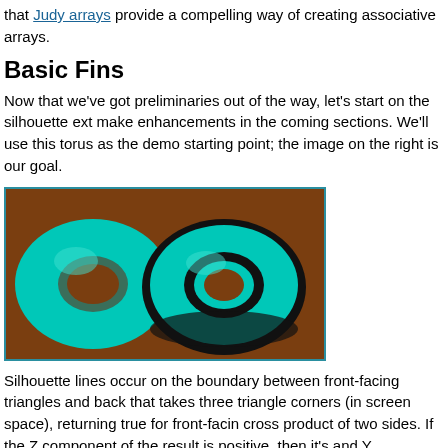that Judy arrays provide a compelling way of creating associative arrays.
Basic Fins
Now that we've got preliminaries out of the way, let's start on the silhouette ext make enhancements in the coming sections. We'll use this torus as the demo starting point; the image on the right is our goal.
[Figure (illustration): Two 3D torus shapes rendered on a brown background. Left torus is cyan/teal with smooth shading. Right torus is cyan/teal with a thick black silhouette outline.]
Silhouette lines occur on the boundary between front-facing triangles and back that takes three triangle corners (in screen space), returning true for front-facin cross product of two sides. If the Z component of the result is positive, then it's and Y components of the result, this reduces to:
view source
loa
print?
1bool IsFront(vec2 A, vec2 B, vec2 C)
2{